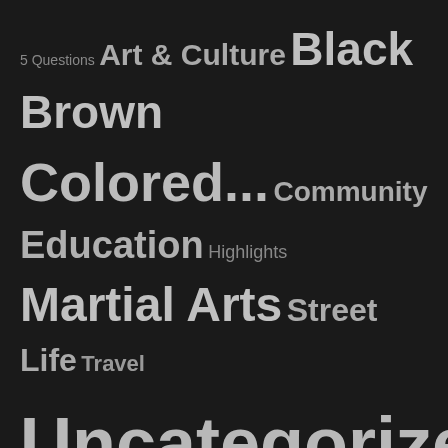[Figure (infographic): Tag cloud on dark background with categories: 5 Questions, Art & Culture, Black, Brown, Colored..., Community, Education, Highlights, Martial Arts, Street Life, Travel, Uncategorized]
MSMB MARTIAL & MOVEMENT ARTS
[Figure (photo): Two photos side by side: left shows people eating at a restaurant, right shows four men posing together in a gym/warehouse setting wearing blue shirts]